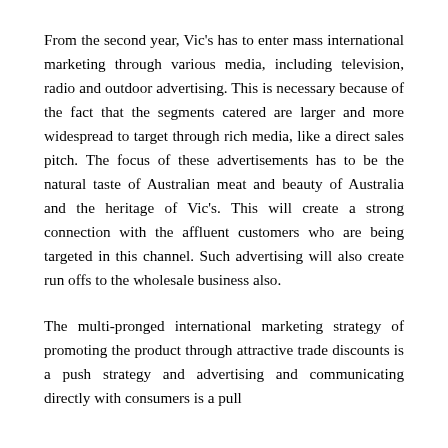From the second year, Vic's has to enter mass international marketing through various media, including television, radio and outdoor advertising. This is necessary because of the fact that the segments catered are larger and more widespread to target through rich media, like a direct sales pitch. The focus of these advertisements has to be the natural taste of Australian meat and beauty of Australia and the heritage of Vic's. This will create a strong connection with the affluent customers who are being targeted in this channel. Such advertising will also create run offs to the wholesale business also.
The multi-pronged international marketing strategy of promoting the product through attractive trade discounts is a push strategy and advertising and communicating directly with consumers is a pull